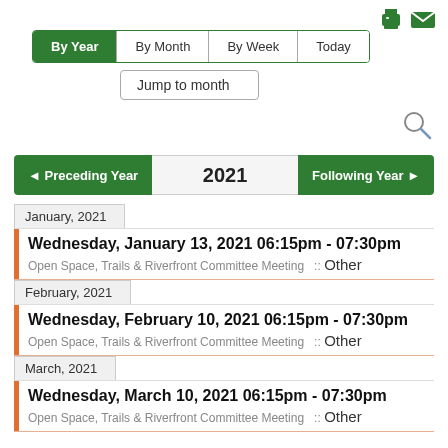[Figure (screenshot): Print and email icons in top right]
By Year | By Month | By Week | Today
Jump to month
◄ Preceding Year   2021   Following Year ►
January, 2021
Wednesday, January 13, 2021 06:15pm - 07:30pm
Open Space, Trails & Riverfront Committee Meeting  ::  Other
February, 2021
Wednesday, February 10, 2021 06:15pm - 07:30pm
Open Space, Trails & Riverfront Committee Meeting  ::  Other
March, 2021
Wednesday, March 10, 2021 06:15pm - 07:30pm
Open Space, Trails & Riverfront Committee Meeting  ::  Other